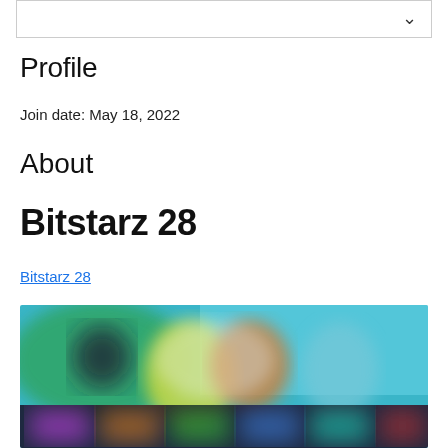Profile
Join date: May 18, 2022
About
Bitstarz 28
Bitstarz 28
[Figure (screenshot): Blurred screenshot of a gaming website showing animated characters and colorful game tiles]